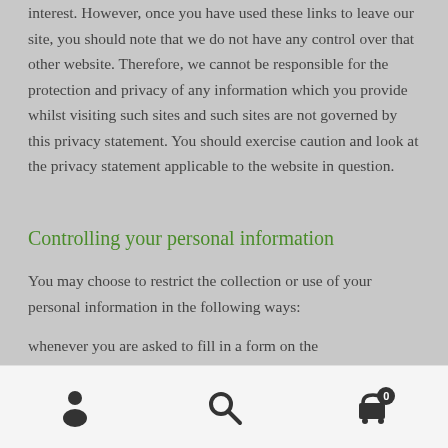interest. However, once you have used these links to leave our site, you should note that we do not have any control over that other website. Therefore, we cannot be responsible for the protection and privacy of any information which you provide whilst visiting such sites and such sites are not governed by this privacy statement. You should exercise caution and look at the privacy statement applicable to the website in question.
Controlling your personal information
You may choose to restrict the collection or use of your personal information in the following ways: